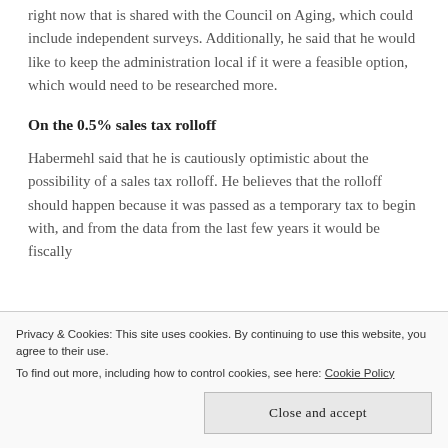right now that is shared with the Council on Aging, which could include independent surveys. Additionally, he said that he would like to keep the administration local if it were a feasible option, which would need to be researched more.
On the 0.5% sales tax rolloff
Habermehl said that he is cautiously optimistic about the possibility of a sales tax rolloff. He believes that the rolloff should happen because it was passed as a temporary tax to begin with, and from the data from the last few years it would be fiscally...
Privacy & Cookies: This site uses cookies. By continuing to use this website, you agree to their use. To find out more, including how to control cookies, see here: Cookie Policy